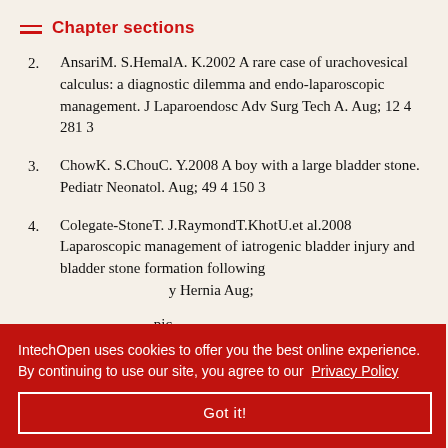Chapter sections
2.  AnsariM. S.HemalA. K.2002 A rare case of urachovesical calculus: a diagnostic dilemma and endo-laparoscopic management. J Laparoendosc Adv Surg Tech A. Aug; 12 4 281 3
3.  ChowK. S.ChouC. Y.2008 A boy with a large bladder stone. Pediatr Neonatol. Aug; 49 4 150 3
4.  Colegate-StoneT. J.RaymondT.KhotU.et al.2008 Laparoscopic management of iatrogenic bladder injury and bladder stone formation following [partially obscured] Hernia Aug;
[partially obscured by cookie banner] pic [partially obscured] cal foreign [partially obscured] LaparoscEndosc Percutan Tech Feb; 18 1 73 8
IntechOpen uses cookies to offer you the best online experience. By continuing to use our site, you agree to our Privacy Policy
Got it!